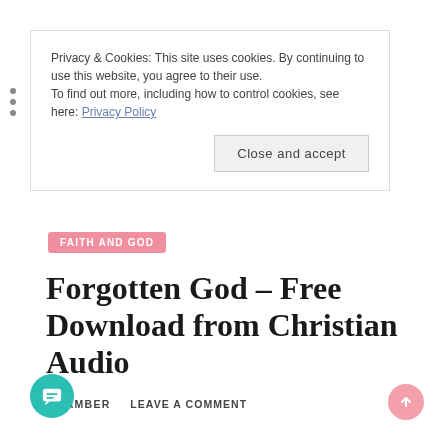Privacy & Cookies: This site uses cookies. By continuing to use this website, you agree to their use.
To find out more, including how to control cookies, see here: Privacy Policy
Close and accept
FAITH AND GOD
Forgotten God – Free Download from Christian Audio
by AMBER   LEAVE A COMMENT